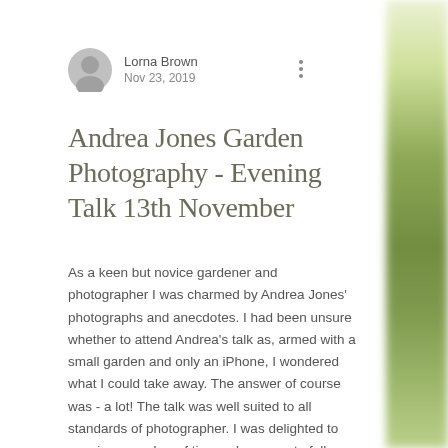Lorna Brown
Nov 23, 2019
Andrea Jones Garden Photography - Evening Talk 13th November
As a keen but novice gardener and photographer I was charmed by Andrea Jones' photographs and anecdotes. I had been unsure whether to attend Andrea's talk as, armed with a small garden and only an iPhone, I wondered what I could take away. The answer of course was - a lot! The talk was well suited to all standards of photographer. I was delighted to acquire a number of tips and an easy to follow photograph sequence plan which I used the following day at Andrea's workshop whe